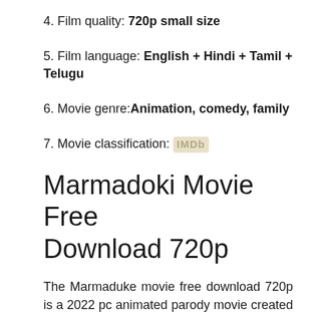4. Film quality: 720p small size
5. Film language: English + Hindi + Tamil + Telugu
6. Movie genre: Animation, comedy, family
7. Movie classification: IMDB
Marmadoki Movie Free Download 720p
The Marmaduke movie free download 720p is a 2022 pc animated parody movie created by Mark A. Z. Depp, and co-created by Phil Neblink, Yangki Lee, and Matt Whelan, an interesting equivalent of Brad Anderson's